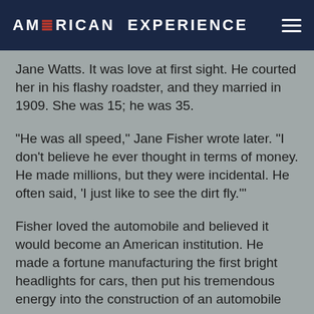AMERICAN EXPERIENCE
Jane Watts. It was love at first sight. He courted her in his flashy roadster, and they married in 1909. She was 15; he was 35.
"He was all speed," Jane Fisher wrote later. "I don't believe he ever thought in terms of money. He made millions, but they were incidental. He often said, 'I just like to see the dirt fly.'"
Fisher loved the automobile and believed it would become an American institution. He made a fortune manufacturing the first bright headlights for cars, then put his tremendous energy into the construction of an automobile